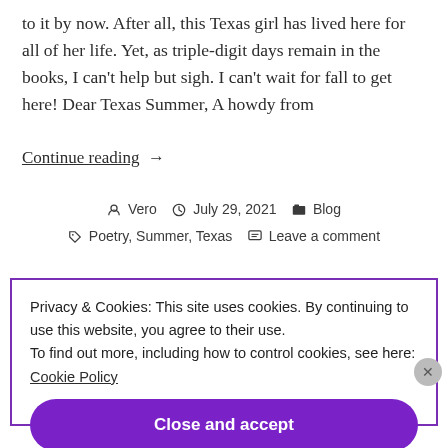to it by now. After all, this Texas girl has lived here for all of her life. Yet, as triple-digit days remain in the books, I can't help but sigh. I can't wait for fall to get here! Dear Texas Summer, A howdy from
Continue reading →
Vero  July 29, 2021  Blog  Poetry, Summer, Texas  Leave a comment
Privacy & Cookies: This site uses cookies. By continuing to use this website, you agree to their use.
To find out more, including how to control cookies, see here: Cookie Policy
Close and accept